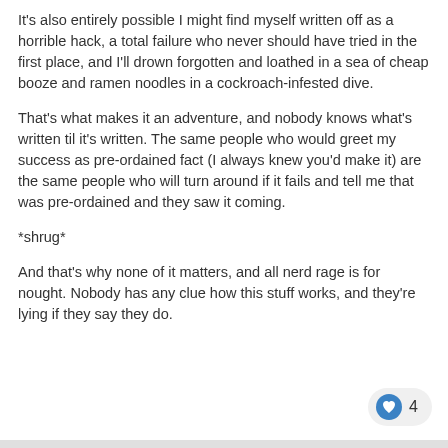It's also entirely possible I might find myself written off as a horrible hack, a total failure who never should have tried in the first place, and I'll drown forgotten and loathed in a sea of cheap booze and ramen noodles in a cockroach-infested dive.
That's what makes it an adventure, and nobody knows what's written til it's written. The same people who would greet my success as pre-ordained fact (I always knew you'd make it) are the same people who will turn around if it fails and tell me that was pre-ordained and they saw it coming.
*shrug*
And that's why none of it matters, and all nerd rage is for nought. Nobody has any clue how this stuff works, and they're lying if they say they do.